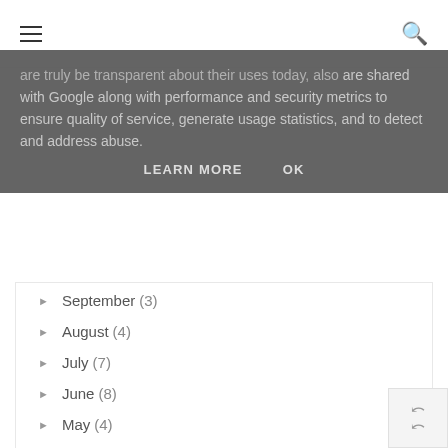≡  🔍
are shared with Google along with performance and security metrics to ensure quality of service, generate usage statistics, and to detect and address abuse.
LEARN MORE   OK
► September (3)
► August (4)
► July (7)
► June (8)
► May (4)
► April (8)
► March (2)
FOLLOW ME
[Figure (other): Follow me image grid placeholder with two image thumbnails]